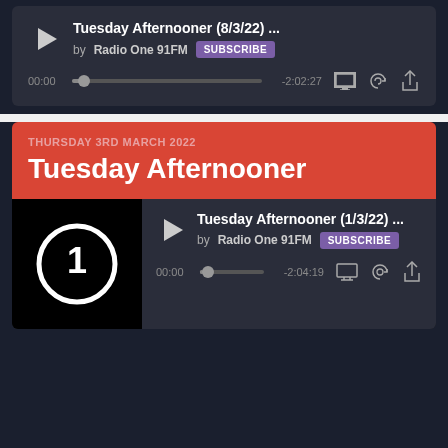[Figure (screenshot): Audio player card showing Tuesday Afternooner (8/3/22) by Radio One 91FM with subscribe button, progress bar at 00:00, duration -2:02:27 and control icons]
THURSDAY 3RD MARCH 2022
Tuesday Afternooner
[Figure (screenshot): Audio player card with Radio One 91FM logo thumbnail, showing Tuesday Afternooner (1/3/22) by Radio One 91FM with subscribe button, progress bar at 00:00, duration -2:04:19 and control icons]